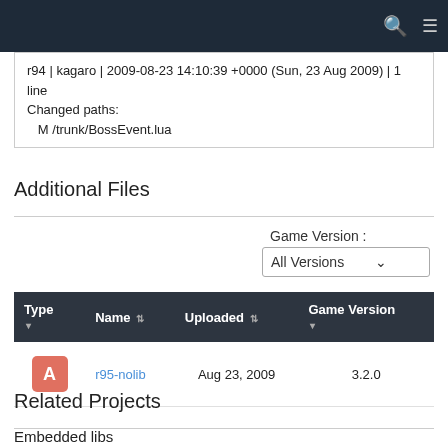Navigation bar with search and menu icons
r94 | kagaro | 2009-08-23 14:10:39 +0000 (Sun, 23 Aug 2009) | 1 line
Changed paths:
   M /trunk/BossEvent.lua
Additional Files
Game Version :
All Versions
| Type | Name | Uploaded | Game Version |
| --- | --- | --- | --- |
| A | r95-nolib | Aug 23, 2009 | 3.2.0 |
Related Projects
Embedded libs